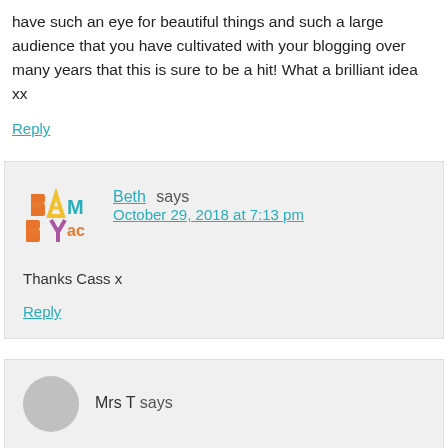have such an eye for beautiful things and such a large audience that you have cultivated with your blogging over many years that this is sure to be a hit! What a brilliant idea xx
Reply
Beth says
October 29, 2018 at 7:13 pm
Thanks Cass x
Reply
Mrs T says